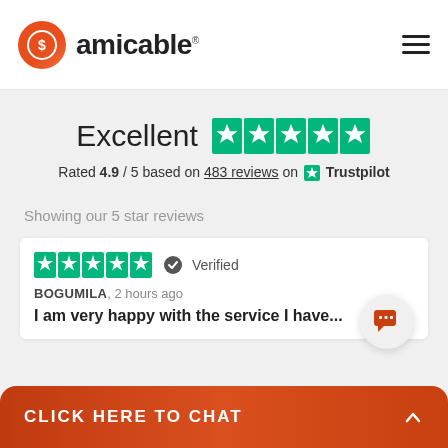[Figure (logo): Amicable logo with orange circle icon and text 'amicable' with registered trademark symbol]
Excellent ★★★★★
Rated 4.9 / 5 based on 483 reviews on ★ Trustpilot
Showing our 5 star reviews
★★★★★ ✓ Verified
BOGUMILA, 2 hours ago
I am very happy with the service I have...
CLICK HERE TO CHAT